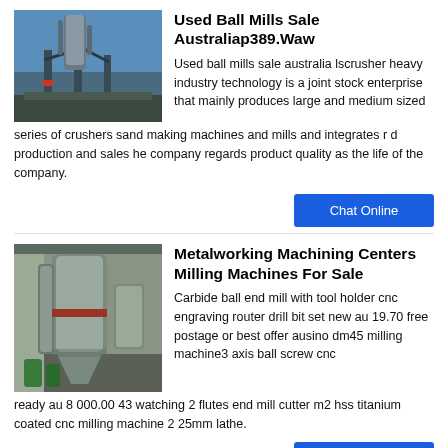Used Ball Mills Sale Australiap389.Waw
[Figure (photo): Industrial ball mill equipment outdoors with blue sky background]
Used ball mills sale australia lscrusher heavy industry technology is a joint stock enterprise that mainly produces large and medium sized series of crushers sand making machines and mills and integrates r d production and sales he company regards product quality as the life of the company.
Chat Online
Metalworking Machining Centers Milling Machines For Sale
[Figure (photo): Indoor industrial milling machine center with large cylindrical equipment]
Carbide ball end mill with tool holder cnc engraving router drill bit set new au 19.70 free postage or best offer ausino dm45 milling machine3 axis ball screw cnc ready au 8 000.00 43 watching 2 flutes end mill cutter m2 hss titanium coated cnc milling machine 2 25mm lathe.
Chat Online